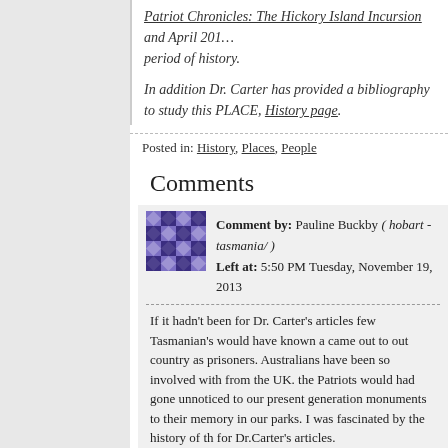Patriot Chronicles: The Hickory Island Incursion and April 201... period of history.
In addition Dr. Carter has provided a bibliography to study this PLACE, History page.
Posted in: History, Places, People
Comments
Comment by: Pauline Buckby ( hobart - tasmania/ ) Left at: 5:50 PM Tuesday, November 19, 2013
If it hadn't been for Dr. Carter's articles few Tasmanian's would have known a came out to out country as prisoners. Australians have been so involved with from the UK. the Patriots would had gone unnoticed to our present generation monuments to their memory in our parks. I was fascinated by the history of th for Dr.Carter's articles.